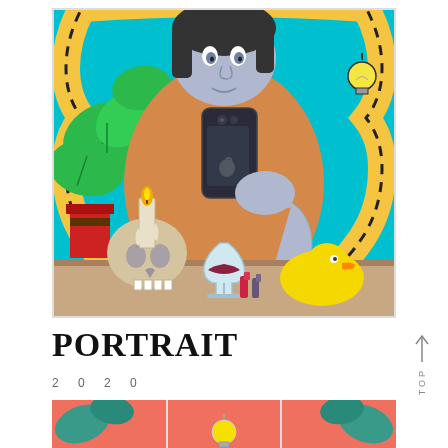[Figure (illustration): Pop-art style illustration of a person taking a selfie with a smartphone, surrounded by a yellow snake-like border frame, monstera plant in a red pot on the left, a candle on a skull, a wine glass with red wine, a yellow rubber duck, lipstick items, on a cyan/turquoise background. The figure wears an orange sweater and has a lavender/blue skin tone.]
PORTRAIT
2 0 2 0
[Figure (illustration): Partial view of a second illustration at the bottom, showing a coral/pink background with teal plant leaves on the sides and light bulb shapes in the middle panels, suggesting a grid or triptych composition.]